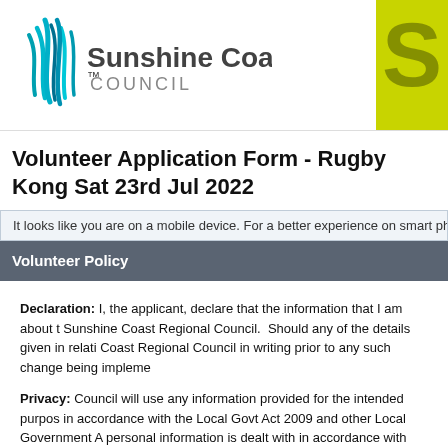[Figure (logo): Sunshine Coast Council logo with stylized wave graphic and text 'Sunshine Coast COUNCIL']
Volunteer Application Form - Rugby Kong Sat 23rd Jul 2022
It looks like you are on a mobile device. For a better experience on smart pho
Volunteer Policy
Declaration: I, the applicant, declare that the information that I am about to provide to Sunshine Coast Regional Council. Should any of the details given in relation to Coast Regional Council in writing prior to any such change being impleme
Privacy: Council will use any information provided for the intended purpos in accordance with the Local Govt Act 2009 and other Local Government A personal information is dealt with in accordance with Council's privacy poli